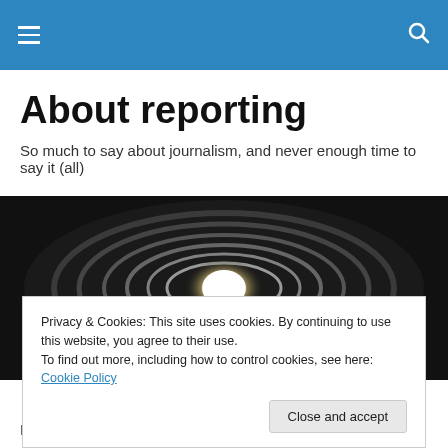≡  🔍 (navigation bar)
About reporting
So much to say about journalism, and never enough time to say it (all)
[Figure (photo): Dark abstract photo of a glowing circular light with concentric wave patterns on a black background]
Privacy & Cookies: This site uses cookies. By continuing to use this website, you agree to their use.
To find out more, including how to control cookies, see here: Cookie Policy

Close and accept
I've been thinking about questions a lot lately and noticing